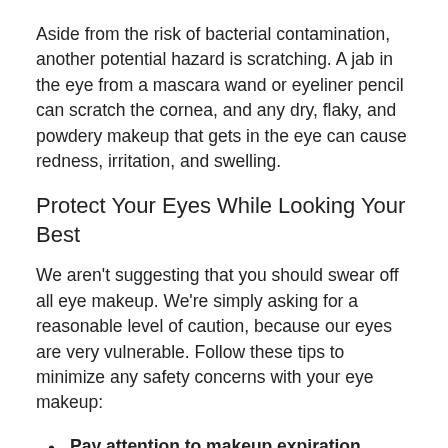Aside from the risk of bacterial contamination, another potential hazard is scratching. A jab in the eye from a mascara wand or eyeliner pencil can scratch the cornea, and any dry, flaky, and powdery makeup that gets in the eye can cause redness, irritation, and swelling.
Protect Your Eyes While Looking Your Best
We aren't suggesting that you should swear off all eye makeup. We're simply asking for a reasonable level of caution, because our eyes are very vulnerable. Follow these tips to minimize any safety concerns with your eye makeup:
Pay attention to makeup expiration dates, especially with eye liner and mascara. Old makeup is much more likely to cause irritation and infection.